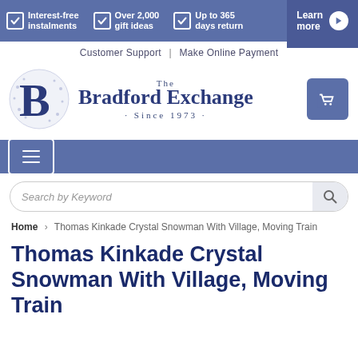[Figure (screenshot): Bradford Exchange website header with blue banner showing Interest-free instalments, Over 2,000 gift ideas, Up to 365 days return, and Learn more button]
Customer Support | Make Online Payment
[Figure (logo): The Bradford Exchange logo with stylized B and text Since 1973]
[Figure (other): Shopping cart icon button]
[Figure (other): Hamburger menu navigation bar]
Search by Keyword
Home > Thomas Kinkade Crystal Snowman With Village, Moving Train
Thomas Kinkade Crystal Snowman With Village, Moving Train